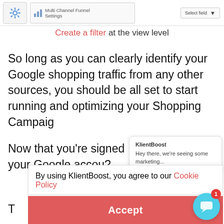[Figure (screenshot): Top navigation bar with gear settings icon, 'Multi Channel Funnel Settings' label with bar chart icon, and a 'Select field' dropdown button]
Create a filter at the view level
So long as you can clearly identify your Google shopping traffic from any other sources, you should be all set to start running and optimizing your Shopping Campaig
Now that you're signed your Google accou?
KlientBoost
Hey there, we're seeing some marketing...
By using KlientBoost, you agree to our Cookie Policy
Accept
T